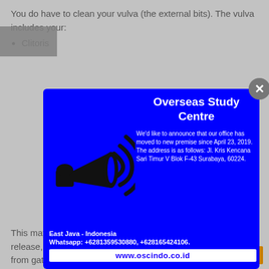You do have to clean your vulva (the external bits). The vulva includes your:
Clitoris
[Figure (infographic): Popup/modal overlay for Overseas Study Centre announcement with megaphone icon. Blue background. Title: Overseas Study Centre. Body text: We'd like to announce that our office has moved to new premise since April 23, 2019. The address is as follows: Jl. Kris Kencana Sari Timur V Blok F-43 Surabaya, 60224. East Java - Indonesia. Whatsapp: +6281359530880, +628165424106. URL: www.oscindo.co.id]
This may keep skin that is dead, release, as well as other dried fluids from gathering into the nooks and crannies of one's vulva, Watson